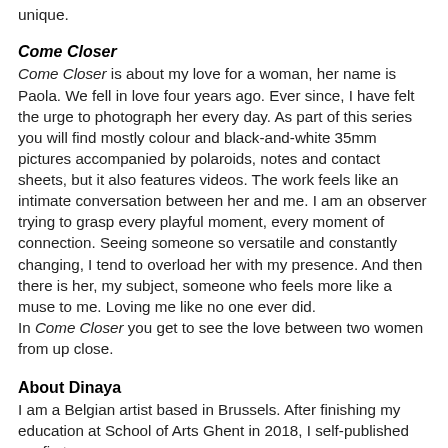unique.
Come Closer
Come Closer is about my love for a woman, her name is Paola. We fell in love four years ago. Ever since, I have felt the urge to photograph her every day. As part of this series you will find mostly colour and black-and-white 35mm pictures accompanied by polaroids, notes and contact sheets, but it also features videos. The work feels like an intimate conversation between her and me. I am an observer trying to grasp every playful moment, every moment of connection. Seeing someone so versatile and constantly changing, I tend to overload her with my presence. And then there is her, my subject, someone who feels more like a muse to me. Loving me like no one ever did.
In Come Closer you get to see the love between two women from up close.
About Dinaya
I am a Belgian artist based in Brussels. After finishing my education at School of Arts Ghent in 2018, I self-published my first